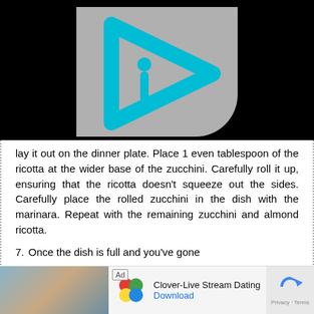[Figure (logo): Gray rounded rectangle with a cyan/turquoise play-button triangle icon containing the letter 'i' — logo for an app or website]
lay it out on the dinner plate. Place 1 even tablespoon of the ricotta at the wider base of the zucchini. Carefully roll it up, ensuring that the ricotta doesn't squeeze out the sides. Carefully place the rolled zucchini in the dish with the marinara. Repeat with the remaining zucchini and almond ricotta.
7. Once the dish is full and you've gone
[Figure (infographic): Advertisement bar: photo of woman on left, Clover-Live Stream Dating ad with heart/clover icon, Download link, and reCAPTCHA icon on right]